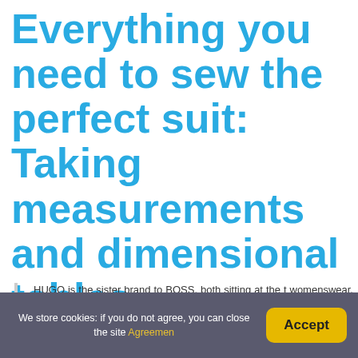Everything you need to sew the perfect suit: Taking measurements and dimensional tables
HUGO is the sister brand to BOSS, both sitting at the t womenswear, HUGO has all the signature details and finishing touches.
We store cookies: if you do not agree, you can close the site Agreemen